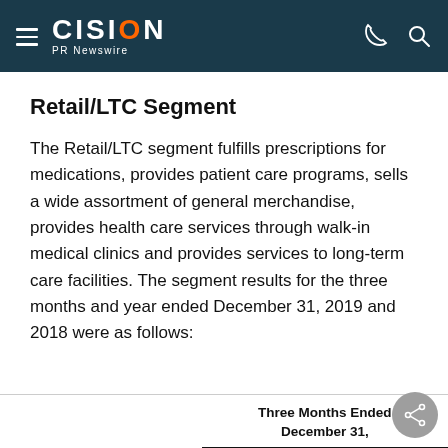CISION PR Newswire
Retail/LTC Segment
The Retail/LTC segment fulfills prescriptions for medications, provides patient care programs, sells a wide assortment of general merchandise, provides health care services through walk-in medical clinics and provides services to long-term care facilities. The segment results for the three months and year ended December 31, 2019 and 2018 were as follows:
| Three Months Ended | December 31, |
| --- | --- |